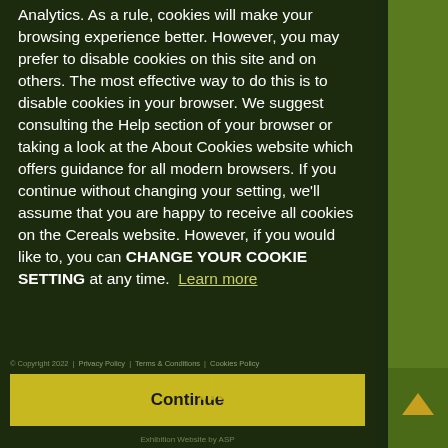Moresby Estate Analytics. As a rule, cookies will make your browsing experience better. However, you may prefer to disable cookies on this site and on others. The most effective way to do this is to disable cookies in your browser. We suggest consulting the Help section of your browser or taking a look at the About Cookies website which offers guidance for all modern browsers. If you continue without changing your setting, we'll assume that you are happy to receive all cookies on the Cereals website. However, if you would like to, you can CHANGE YOUR COOKIE SETTING at any time. Learn more
© Copyright 2022  |  Privacy Policy  |  Terms & Conditions  |  Cookies Policy
Continue
Exhibition Website by ASP